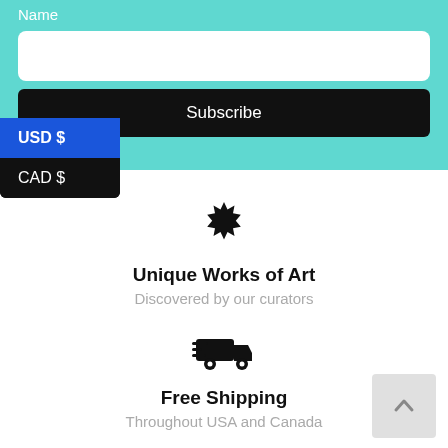Name
Subscribe
USD $
CAD $
[Figure (illustration): Star/seal badge icon, black]
Unique Works of Art
Discovered by our curators
[Figure (illustration): Delivery truck with speed lines icon, black]
Free Shipping
Throughout USA and Canada